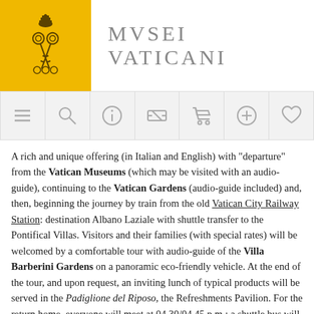[Figure (logo): Musei Vaticani header with yellow logo box containing crossed keys and papal tiara symbol, and site title text MVSEI VATICANI]
[Figure (infographic): Navigation bar with icons: hamburger menu, search magnifier, info circle, ticket/label, shopping cart, plus circle, heart]
A rich and unique offering (in Italian and English) with "departure" from the Vatican Museums (which may be visited with an audio-guide), continuing to the Vatican Gardens (audio-guide included) and, then, beginning the journey by train from the old Vatican City Railway Station: destination Albano Laziale with shuttle transfer to the Pontifical Villas. Visitors and their families (with special rates) will be welcomed by a comfortable tour with audio-guide of the Villa Barberini Gardens on a panoramic eco-friendly vehicle. At the end of the tour, and upon request, an inviting lunch of typical products will be served in the Padiglione del Riposo, the Refreshments Pavilion. For the return home, everyone will meet at 04.30/04.45 p.m.: a shuttle bus will take passengers to Castel Gandolfo station in order to board the train, due to arrive at about 06.30 p.m. at the Roma San